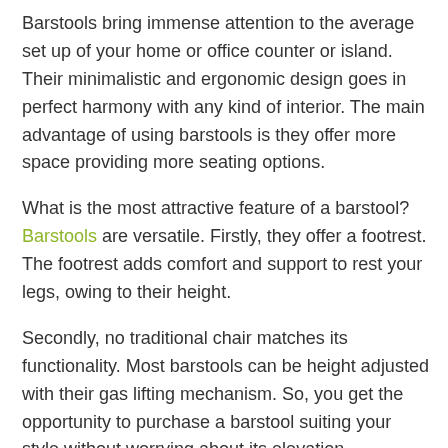Barstools bring immense attention to the average set up of your home or office counter or island. Their minimalistic and ergonomic design goes in perfect harmony with any kind of interior. The main advantage of using barstools is they offer more space providing more seating options.
What is the most attractive feature of a barstool? Barstools are versatile. Firstly, they offer a footrest. The footrest adds comfort and support to rest your legs, owing to their height.
Secondly, no traditional chair matches its functionality. Most barstools can be height adjusted with their gas lifting mechanism. So, you get the opportunity to purchase a barstool suiting your style without worrying about its elevation.
Thirdly, barstools provide excellent mobility. The swivel barstools bring forth easy accessibility to your left and right. You can also join conservation from behind. Additionally, some barstools have a support armrest and backrest for comfort.